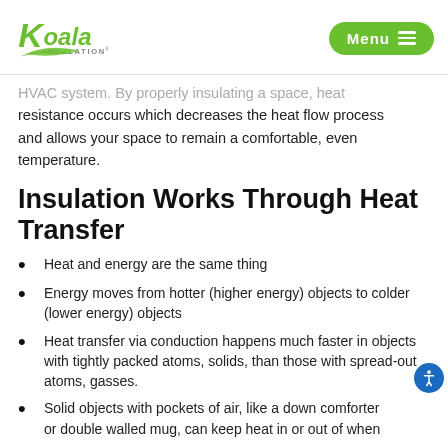Koala Insulation — Menu
HVAC system. By properly insulating a space, heat resistance occurs which decreases the heat flow process and allows your space to remain a comfortable, even temperature.
Insulation Works Through Heat Transfer
Heat and energy are the same thing
Energy moves from hotter (higher energy) objects to colder (lower energy) objects
Heat transfer via conduction happens much faster in objects with tightly packed atoms, solids, than those with spread-out atoms, gasses.
Solid objects with pockets of air, like a down comforter or double walled mug, can keep heat in or out of when...